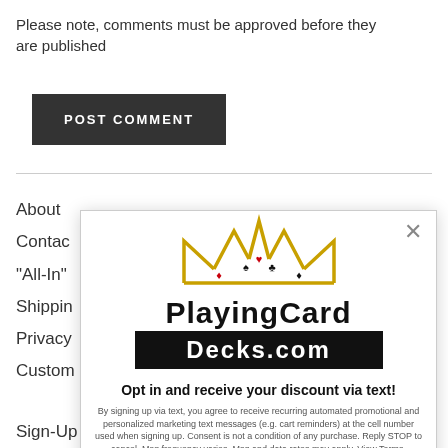Please note, comments must be approved before they are published
POST COMMENT
About
Contact
"All-In"
Shipping
Privacy
Custom
Sign-Up
My Wis
Loyalty
[Figure (logo): PlayingCardDecks.com modal popup with crown logo, opt-in text message discount offer, and TAP FOR 10% OFF* button]